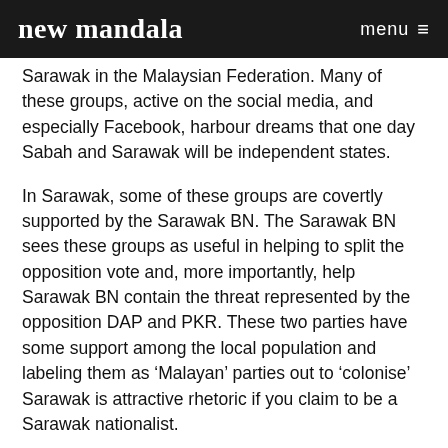new mandala   menu ≡
Sarawak in the Malaysian Federation. Many of these groups, active on the social media, and especially Facebook, harbour dreams that one day Sabah and Sarawak will be independent states.
In Sarawak, some of these groups are covertly supported by the Sarawak BN. The Sarawak BN sees these groups as useful in helping to split the opposition vote and, more importantly, help Sarawak BN contain the threat represented by the opposition DAP and PKR. These two parties have some support among the local population and labeling them as 'Malayan' parties out to 'colonise' Sarawak is attractive rhetoric if you claim to be a Sarawak nationalist.